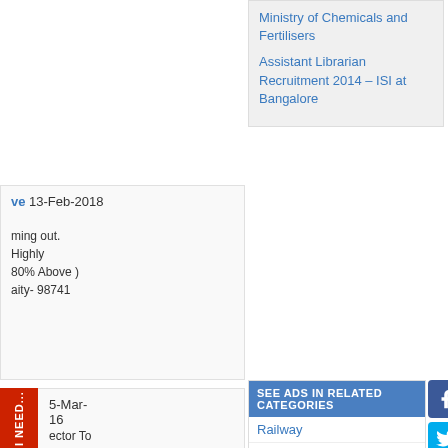Ministry of Chemicals and Fertilisers
Assistant Librarian Recruitment 2014 – ISI at Bangalore
ve 13-Feb-2018
ming out. Highly 80% Above ) aity- 98741
5-Mar- 16
ector To irlines
SEE ADS IN RELATED CATEGORIES
Railway
Army
Navy